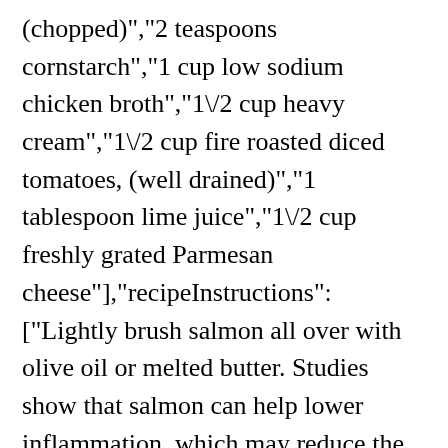(chopped)","2 teaspoons cornstarch","1 cup low sodium chicken broth","1\/2 cup heavy cream","1\/2 cup fire roasted diced tomatoes, (well drained)","1 tablespoon lime juice","1\/2 cup freshly grated Parmesan cheese"],"recipeInstructions":["Lightly brush salmon all over with olive oil or melted butter. Studies show that salmon can help lower inflammation, which may reduce the risk factors for several diseases. Grilled foods can be blackened, but not all grilled foods are blackened. That’s it! Be ... This is a quick recipe ... Place the salmon in the water and wait for 15 minutes. Starting with the bottom, it will change from raw pink to pale pink along the sides of the fish as it cooks...